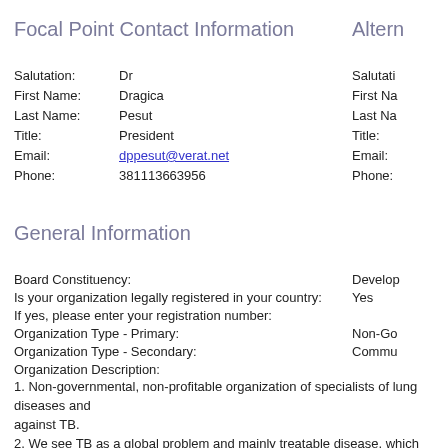Focal Point Contact Information
Altern
Salutation: Dr
First Name: Dragica
Last Name: Pesut
Title: President
Email: dppesut@verat.net
Phone: 381113663956
Salutati
First Na
Last Na
Title:
Email:
Phone:
General Information
Board Constituency:
Develop
Is your organization legally registered in your country:
Yes
If yes, please enter your registration number:
Organization Type - Primary:
Non-Go
Organization Type - Secondary:
Commu
Organization Description:
1. Non-governmental, non-profitable organization of specialists of lung diseases and against TB.
2. We see TB as a global problem and mainly treatable disease, which could be elin countries.
3. We plan to continue all the activities of former Yugoslav Anti-Tuberculosis Associa medical education, technical assistance in research in all the fields of TB and suppo